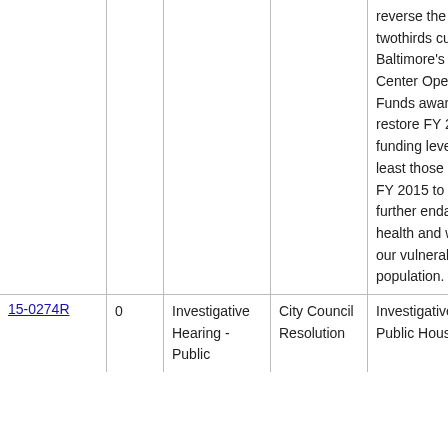| ID | Col2 | Type | Category | Description |
| --- | --- | --- | --- | --- |
|  |  |  |  | reverse the more than twothirds cut to Baltimore's Senior Center Operating Funds award and restore FY 2016 funding levels to at least those awarded in FY 2015 to avoid further endangering the health and wellbeing of our vulnerable elderly population. |
| 15-0274R | 0 | Investigative Hearing - Public | City Council Resolution | Investigative Hearing - Public Housing |